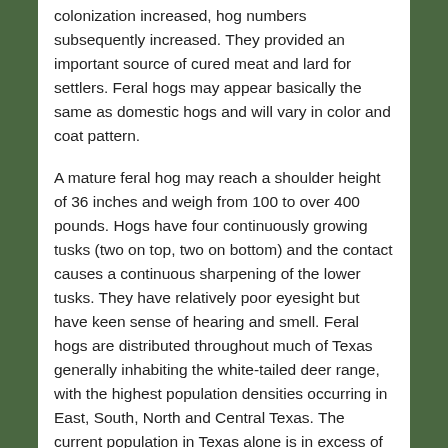colonization increased, hog numbers subsequently increased. They provided an important source of cured meat and lard for settlers. Feral hogs may appear basically the same as domestic hogs and will vary in color and coat pattern.
A mature feral hog may reach a shoulder height of 36 inches and weigh from 100 to over 400 pounds. Hogs have four continuously growing tusks (two on top, two on bottom) and the contact causes a continuous sharpening of the lower tusks. They have relatively poor eyesight but have keen sense of hearing and smell. Feral hogs are distributed throughout much of Texas generally inhabiting the white-tailed deer range, with the highest population densities occurring in East, South, North and Central Texas. The current population in Texas alone is in excess of 1.5 million.
City of Southlake's Hog Management Plan
Trapping is the most common method utilized by